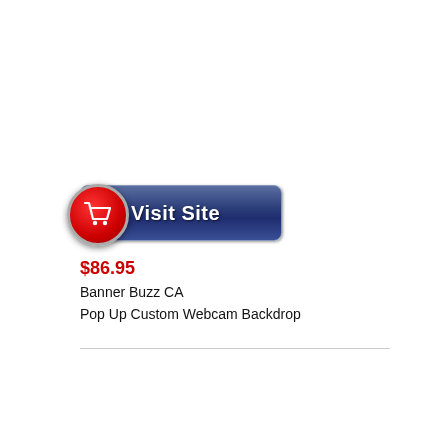[Figure (other): A 'Visit Site' button with a red shopping cart circle icon on the left and blue gradient rectangular button with white bold text 'Visit Site']
$86.95
Banner Buzz CA
Pop Up Custom Webcam Backdrop